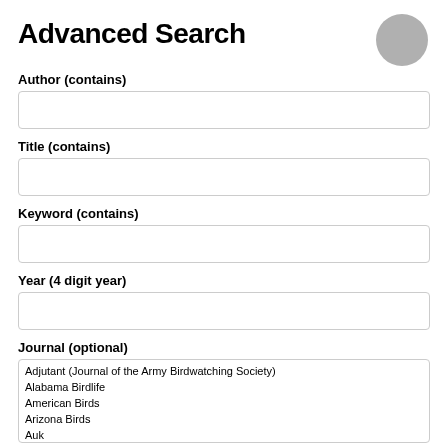Advanced Search
Author (contains)
Title (contains)
Keyword (contains)
Year (4 digit year)
Journal (optional)
Adjutant (Journal of the Army Birdwatching Society)
Alabama Birdlife
American Birds
Arizona Birds
Auk
Bird Banding